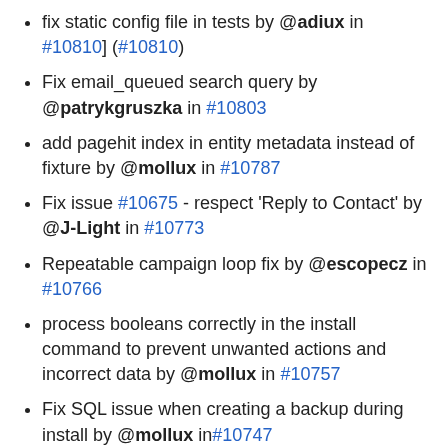fix static config file in tests by @adiux in #10810] (#10810)
Fix email_queued search query by @patrykgruszka in #10803
add pagehit index in entity metadata instead of fixture by @mollux in #10787
Fix issue #10675 - respect 'Reply to Contact' by @J-Light in #10773
Repeatable campaign loop fix by @escopecz in #10766
process booleans correctly in the install command to prevent unwanted actions and incorrect data by @mollux in #10757
Fix SQL issue when creating a backup during install by @mollux in#10747
Imports not completing by @anton-vlasenko in #10744
Campaign event api fix by @acoenraets in